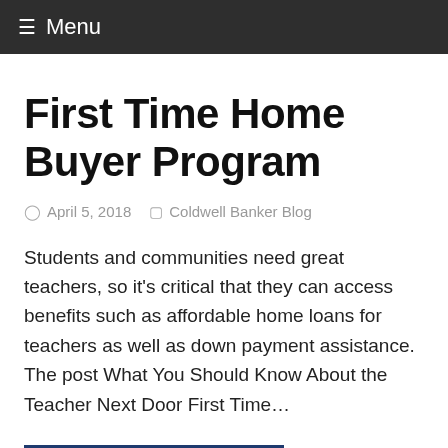≡ Menu
First Time Home Buyer Program
April 5, 2018   Coldwell Banker Blog
Students and communities need great teachers, so it's critical that they can access benefits such as affordable home loans for teachers as well as down payment assistance. The post What You Should Know About the Teacher Next Door First Time…
Read more